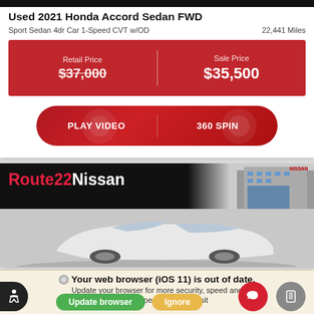Used 2021 Honda Accord Sedan FWD
Sport Sedan 4dr Car 1-Speed CVT w/OD    22,441 Miles
| Retail Price | Sale Price |
| --- | --- |
| $37,000 | $35,500 |
[Figure (screenshot): PLAY VIDEO | 360 SPIN button row]
[Figure (screenshot): Route22Nissan dealer banner with building photo and white sedan car image below]
Your web browser (iOS 11) is out of date. Update your browser for more security, speed and the best experience on this site.
Update browser | Ignore